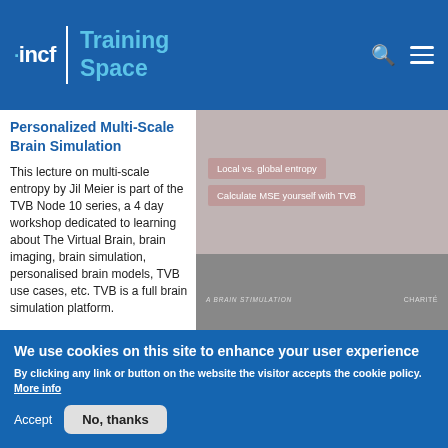INCF Training Space
Personalized Multi-Scale Brain Simulation
[Figure (screenshot): Screenshot of a course video thumbnail showing slides with text 'Local vs. global entropy' and 'Calculate MSE yourself with TVB', and a conference hall with Charité branding at the bottom.]
This lecture on multi-scale entropy by Jil Meier is part of the TVB Node 10 series, a 4 day workshop dedicated to learning about The Virtual Brain, brain imaging, brain simulation, personalised brain models, TVB use cases, etc. TVB is a full brain simulation platform.
We use cookies on this site to enhance your user experience
By clicking any link or button on the website the visitor accepts the cookie policy. More info
Accept
No, thanks